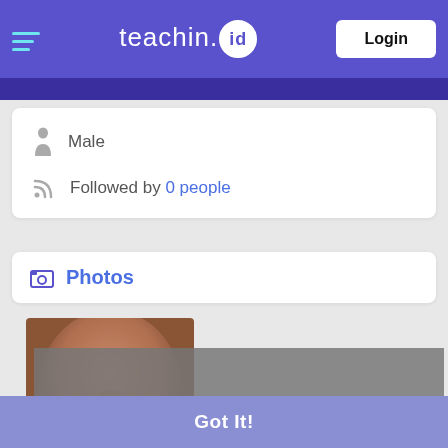teachin.id — Login
Male
Followed by 0 people
Photos
[Figure (photo): Close-up photo of a person's lower face (nose and lips area), with a partially visible text overlay.]
This website uses cookies to ensure you get the best experience on our website
Learn More
Got It!
Recent Updates	≡ All ▼